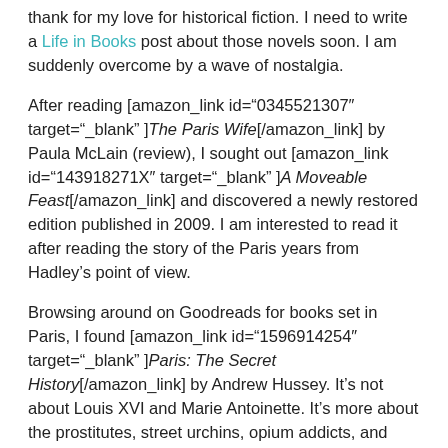thank for my love for historical fiction. I need to write a Life in Books post about those novels soon. I am suddenly overcome by a wave of nostalgia.
After reading [amazon_link id="0345521307" target="_blank" ]The Paris Wife[/amazon_link] by Paula McLain (review), I sought out [amazon_link id="143918271X" target="_blank" ]A Moveable Feast[/amazon_link] and discovered a newly restored edition published in 2009. I am interested to read it after reading the story of the Paris years from Hadley's point of view.
Browsing around on Goodreads for books set in Paris, I found [amazon_link id="1596914254" target="_blank" ]Paris: The Secret History[/amazon_link] by Andrew Hussey. It's not about Louis XVI and Marie Antoinette. It's more about the prostitutes, street urchins, opium addicts, and artists. Looks really good.
[amazon_image id="0312378025" link="true" target="_blank" size="medium" ]The Tea Rose: A Novel[/amazon_image] [amazon_link id="1401307469" link="true" target="_blank"